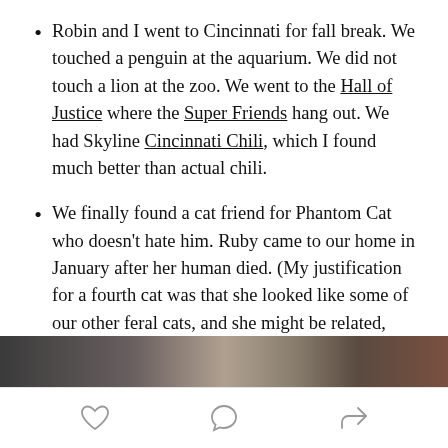Robin and I went to Cincinnati for fall break. We touched a penguin at the aquarium. We did not touch a lion at the zoo. We went to the Hall of Justice where the Super Friends hang out. We had Skyline Cincinnati Chili, which I found much better than actual chili.
We finally found a cat friend for Phantom Cat who doesn't hate him. Ruby came to our home in January after her human died. (My justification for a fourth cat was that she looked like some of our other feral cats, and she might be related, since she lived relatively close.) Here they are. Ruby is on the left.
[Figure (photo): Partial view of a photo strip showing cats, visible at the bottom of the page]